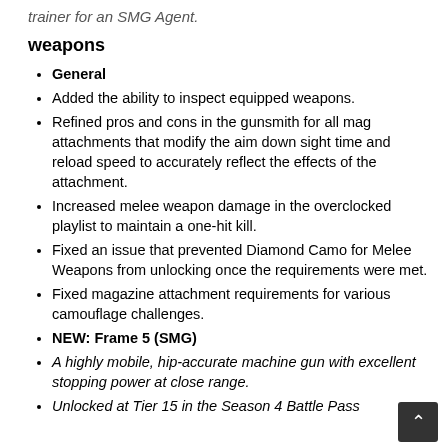trainer for an SMG Agent.
weapons
General
Added the ability to inspect equipped weapons.
Refined pros and cons in the gunsmith for all mag attachments that modify the aim down sight time and reload speed to accurately reflect the effects of the attachment.
Increased melee weapon damage in the overclocked playlist to maintain a one-hit kill.
Fixed an issue that prevented Diamond Camo for Melee Weapons from unlocking once the requirements were met.
Fixed magazine attachment requirements for various camouflage challenges.
NEW: Frame 5 (SMG)
A highly mobile, hip-accurate machine gun with excellent stopping power at close range.
Unlocked at Tier 15 in the Season 4 Battle Pass